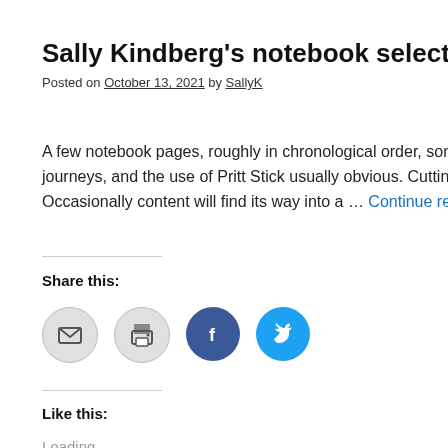Sally Kindberg's notebook selection 2021
Posted on October 13, 2021 by SallyK
A few notebook pages, roughly in chronological order, sometim journeys, and the use of Pritt Stick usually obvious. Cutting out Occasionally content will find its way into a … Continue reading
Share this:
[Figure (other): Social share buttons: email, print, Facebook, Twitter]
Like this:
Loading...